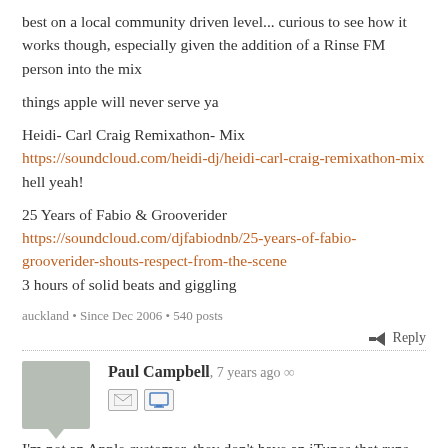best on a local community driven level... curious to see how it works though, especially given the addition of a Rinse FM person into the mix
things apple will never serve ya
Heidi- Carl Craig Remixathon- Mix https://soundcloud.com/heidi-dj/heidi-carl-craig-remixathon-mix hell yeah!
25 Years of Fabio & Grooverider https://soundcloud.com/djfabiodnb/25-years-of-fabio-grooverider-shouts-respect-from-the-scene 3 hours of solid beats and giggling
auckland • Since Dec 2006 • 540 posts
Reply
Paul Campbell, 7 years ago
I'm not an Apple customer, they don't have an iTunes that runs on any platform I use day to day, they're sort of a foreign country to me. I used to be